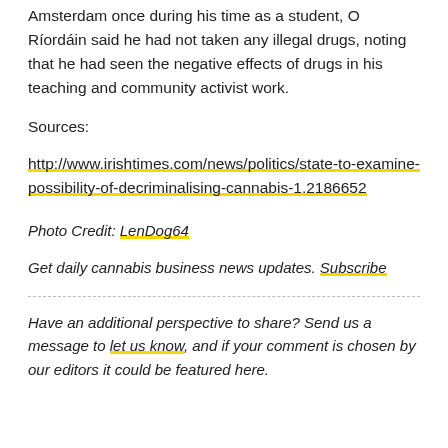Amsterdam once during his time as a student, O Ríordáin said he had not taken any illegal drugs, noting that he had seen the negative effects of drugs in his teaching and community activist work.
Sources:
http://www.irishtimes.com/news/politics/state-to-examine-possibility-of-decriminalising-cannabis-1.2186652
Photo Credit: LenDog64
Get daily cannabis business news updates. Subscribe
Have an additional perspective to share? Send us a message to let us know, and if your comment is chosen by our editors it could be featured here.